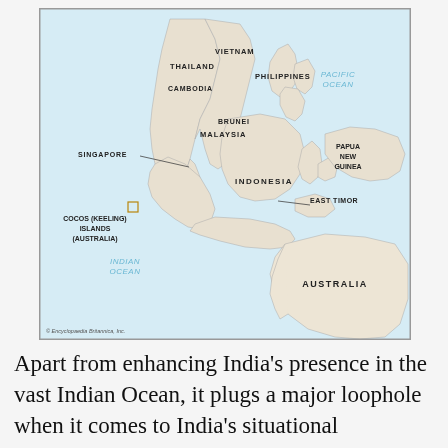[Figure (map): Map of Southeast Asia and Oceania region showing Thailand, Vietnam, Cambodia, Philippines, Brunei, Malaysia, Singapore, Indonesia, Papua New Guinea, East Timor, Australia, Cocos (Keeling) Islands (Australia), Indian Ocean, and Pacific Ocean. Copyright Encyclopaedia Britannica, Inc.]
Apart from enhancing India’s presence in the vast Indian Ocean, it plugs a major loophole when it comes to India’s situational awareness in the Indian